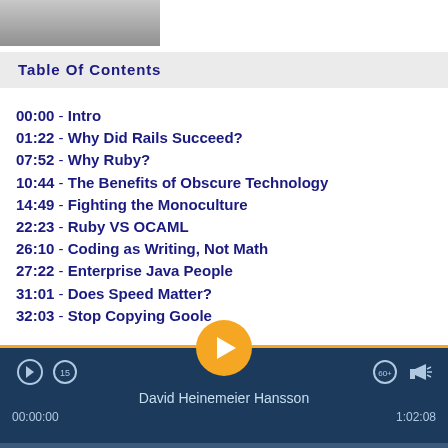[Figure (photo): Partial photo of a person (top of head/shoulders), cropped at top of page]
Table Of Contents
00:00 - Intro
01:22 - Why Did Rails Succeed?
07:52 - Why Ruby?
10:44 - The Benefits of Obscure Technology
14:49 - Fighting the Monoculture
22:23 - Ruby VS OCAML
26:10 - Coding as Writing, Not Math
27:22 - Enterprise Java People
31:01 - Does Speed Matter?
32:03 - Stop Copying Google
David Heinemeier Hansson
00:00:00
1:02:08